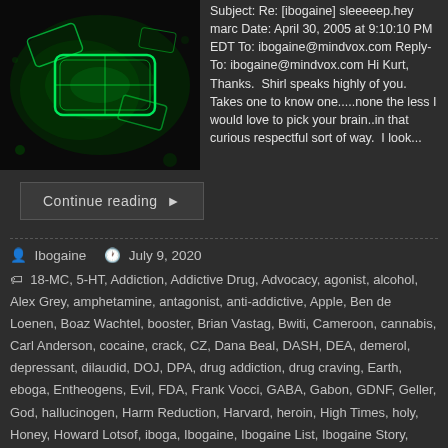[Figure (photo): Glowing green neon geometric shapes on dark background]
Subject: Re: [ibogaine] sleeeeep.hey marc Date: April 30, 2005 at 9:10:10 PM EDT To: ibogaine@mindvox.com Reply-To: ibogaine@mindvox.com Hi Kurt, Thanks. Shirl speaks highly of you. Takes one to know one.....none the less I would love to pick your brain..in that curious respectful sort of way. I look...
Continue reading ▶
Ibogaine   July 9, 2020
18-MC, 5-HT, Addiction, Addictive Drug, Advocacy, agonist, alcohol, Alex Grey, amphetamine, antagonist, anti-addictive, Apple, Ben de Loenen, Boaz Wachtel, booster, Brian Vastag, Bwiti, Cameroon, cannabis, Carl Anderson, cocaine, crack, CZ, Dana Beal, DASH, DEA, demerol, depressant, dilaudid, DOJ, DPA, drug addiction, drug craving, Earth, eboga, Entheogens, Evil, FDA, Frank Vocci, GABA, Gabon, GDNF, Geller, God, hallucinogen, Harm Reduction, Harvard, heroin, High Times, holy, Honey, Howard Lotsof, iboga, Ibogaine, Ibogaine List, Ibogaine Story, Ibogaine Treatment, Jeffrey Kamlet,